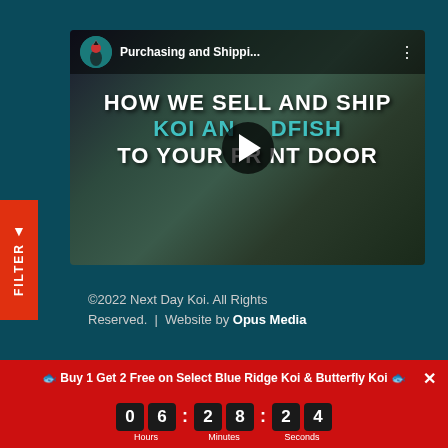[Figure (screenshot): YouTube video thumbnail showing 'Purchasing and Shippi...' video with text 'HOW WE SELL AND SHIP KOI AND GOLDFISH TO YOUR FRONT DOOR' and a play button]
©2022 Next Day Koi. All Rights Reserved. | Website by Opus Media
[Figure (other): Payment method icons: Visa, MasterCard, Discover, AMEX]
FILTER
🐟 Buy 1 Get 2 Free on Select Blue Ridge Koi & Butterfly Koi 🐟
0 6  2 8  2 4  Hours  Minutes  Seconds